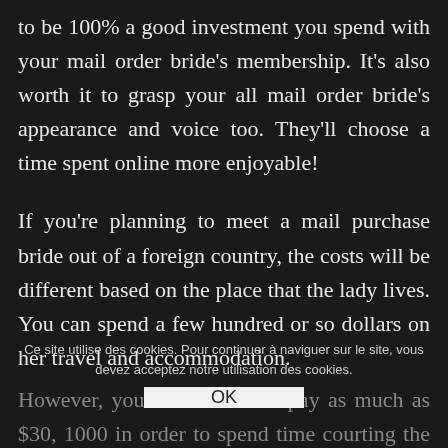to be 100% a good investment you spend with your mail order bride's membership. It's also worth it to grasp your all mail order bride's appearance and voice too. They'll choose a time spent online more enjoyable!
If you're planning to meet a mail purchase bride out of a foreign country, the costs will be different based on the place that the lady lives. You can spend a few hundred or so dollars on her travel and accommodation.
However, you'll be forced to pay as much as $30, 1000 in order to spend time courting the potential bride, this price will quickly become forgotten after you meet her
Ce site utilise des cookies. Pour continuer à naviguer sur le site, vous devez acceptez notre utilisation des cookies.
OK